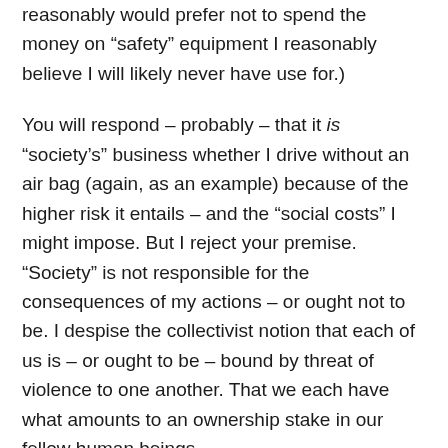reasonably would prefer not to spend the money on “safety” equipment I reasonably believe I will likely never have use for.)
You will respond – probably – that it is “society’s” business whether I drive without an air bag (again, as an example) because of the higher risk it entails – and the “social costs” I might impose. But I reject your premise. “Society” is not responsible for the consequences of my actions – or ought not to be. I despise the collectivist notion that each of us is – or ought to be – bound by threat of violence to one another. That we each have what amounts to an ownership stake in our fellow human beings.
Leave your fellow men alone! If someone causes you injury or loss, then that person ought to be